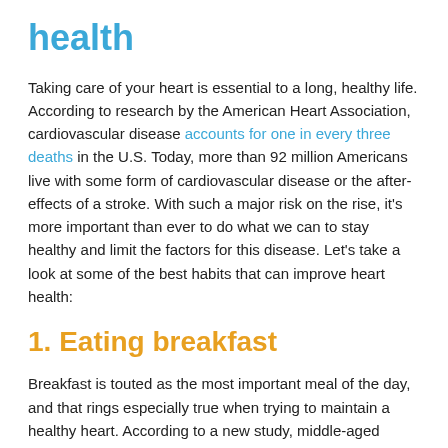health
Taking care of your heart is essential to a long, healthy life. According to research by the American Heart Association, cardiovascular disease accounts for one in every three deaths in the U.S. Today, more than 92 million Americans live with some form of cardiovascular disease or the after-effects of a stroke. With such a major risk on the rise, it's more important than ever to do what we can to stay healthy and limit the factors for this disease. Let's take a look at some of the best habits that can improve heart health:
1. Eating breakfast
Breakfast is touted as the most important meal of the day, and that rings especially true when trying to maintain a healthy heart. According to a new study, middle-aged adults that routinely skip breakfast are more likely to have